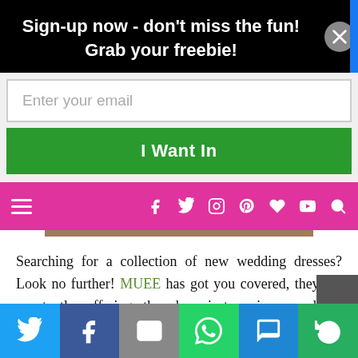Sign-up now - don't miss the fun! Grab your freebie!
Enter your email
I Want In
Navigation bar with social icons: f, twitter, instagram, pinterest, heart, youtube, search
Searching for a collection of new wedding dresses? Look no further! MUEE has got you covered, they are constantly offering the dreamiest, unique wedding dresses each month to keep their selections fresh. Check our their categories to find the latest from them. Whether
Social share bar: Twitter, Facebook, Email, WhatsApp, SMS, More